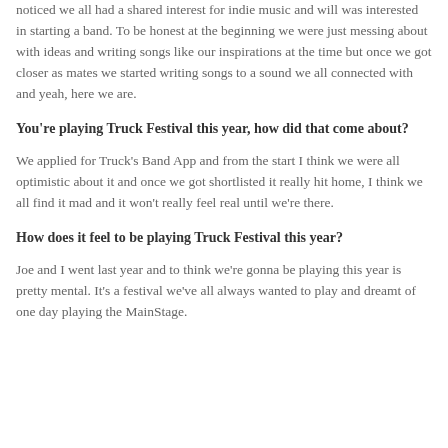noticed we all had a shared interest for indie music and will was interested in starting a band. To be honest at the beginning we were just messing about with ideas and writing songs like our inspirations at the time but once we got closer as mates we started writing songs to a sound we all connected with and yeah, here we are.
You're playing Truck Festival this year, how did that come about?
We applied for Truck's Band App and from the start I think we were all optimistic about it and once we got shortlisted it really hit home, I think we all find it mad and it won't really feel real until we're there.
How does it feel to be playing Truck Festival this year?
Joe and I went last year and to think we're gonna be playing this year is pretty mental. It's a festival we've all always wanted to play and dreamt of one day playing the MainStage.